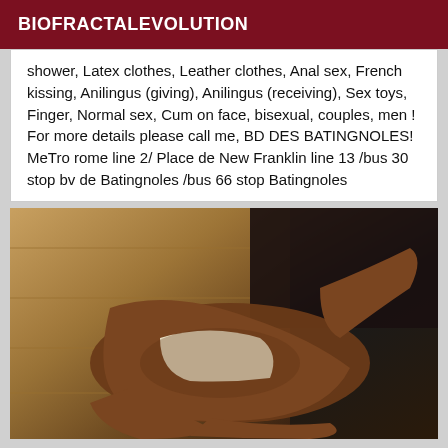BIOFRACTALEVOLUTION
shower, Latex clothes, Leather clothes, Anal sex, French kissing, Anilingus (giving), Anilingus (receiving), Sex toys, Finger, Normal sex, Cum on face, bisexual, couples, men ! For more details please call me, BD DES BATINGNOLES! MeTro rome line 2/ Place de New Franklin line 13 /bus 30 stop bv de Batingnoles /bus 66 stop Batingnoles
[Figure (photo): A person lying on a wooden floor wearing a light cream/white crop top and shorts, photographed from above at an angle.]